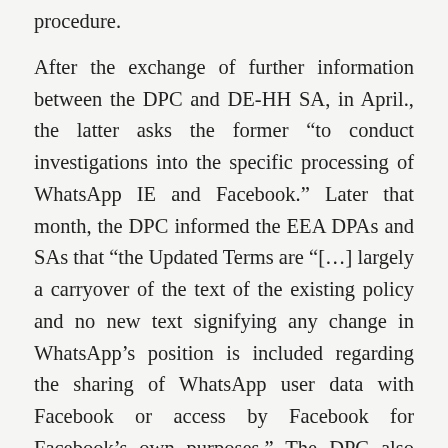procedure.
After the exchange of further information between the DPC and DE-HH SA, in April., the latter asks the former “to conduct investigations into the specific processing of WhatsApp IE and Facebook.” Later that month, the DPC informed the EEA DPAs and SAs that “the Updated Terms are “[…] largely a carryover of the text of the existing policy and no new text signifying any change in WhatsApp’s position is included regarding the sharing of WhatsApp user data with Facebook or access by Facebook for Facebook’s own purposes.” The DPC also informed these agencies that “it commenced a supervision review and assessment of WhatsApp IE’s oversight